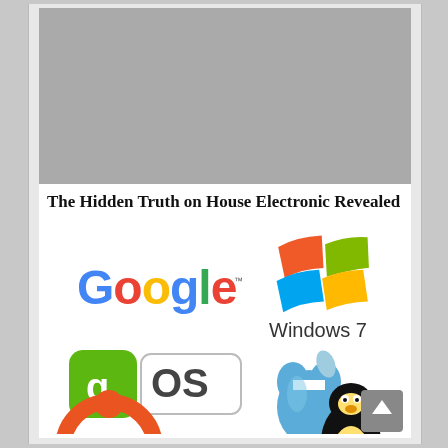[Figure (photo): Gray banner/advertisement placeholder at top of page]
The Hidden Truth on House Electronic Revealed
[Figure (illustration): Collection of OS/tech logos: Google, Windows 7, gOS, Apple, Ubuntu, Linux Tux penguin]